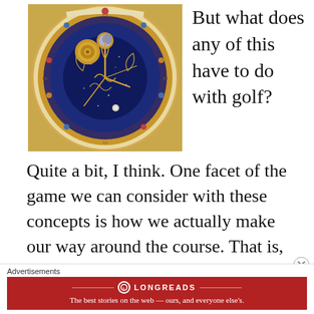[Figure (photo): Close-up photograph of an ornate astronomical clock face with gold filigree, Roman numerals, blue celestial sphere in center, and intricate mechanical details.]
But what does any of this have to do with golf?
Quite a bit, I think. One facet of the game we can consider with these concepts is how we actually make our way around the course. That is,
Advertisements
[Figure (logo): Longreads advertisement banner in red with white text reading: The best stories on the web — ours, and everyone else's.]